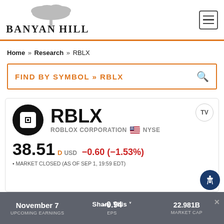BANYAN HILL — Home » Research » RBLX
FIND BY SYMBOL » RBLX
[Figure (other): RBLX stock quote card showing Roblox Corporation on NYSE. Price: 38.51 USD, change: -0.60 (-1.53%), Market Closed as of Sep 1, 19:59 EDT]
November 7 | UPCOMING EARNINGS | -0.94 | EPS | 22.981B | MARKET CAP | Share This